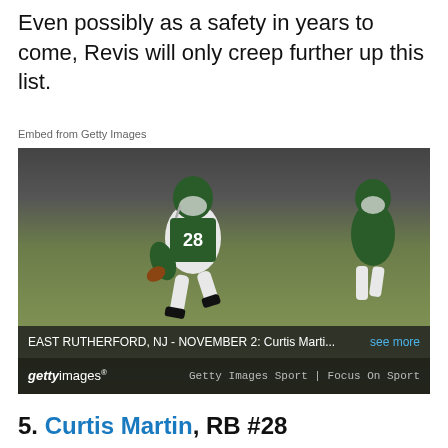Even possibly as a safety in years to come, Revis will only creep further up this list.
Embed from Getty Images
[Figure (photo): NFL player wearing New York Jets jersey number 28 (Curtis Martin) running with the football on the field, with another Jets player in background. Photo taken at East Rutherford, NJ on November 2. Getty Images Sport | Focus On Sport.]
5. Curtis Martin, RB #28